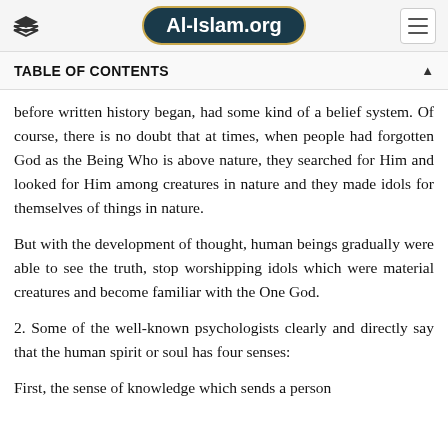Al-Islam.org
TABLE OF CONTENTS
before written history began, had some kind of a belief system. Of course, there is no doubt that at times, when people had forgotten God as the Being Who is above nature, they searched for Him and looked for Him among creatures in nature and they made idols for themselves of things in nature.
But with the development of thought, human beings gradually were able to see the truth, stop worshipping idols which were material creatures and become familiar with the One God.
2. Some of the well-known psychologists clearly and directly say that the human spirit or soul has four senses:
First, the sense of knowledge which sends a person